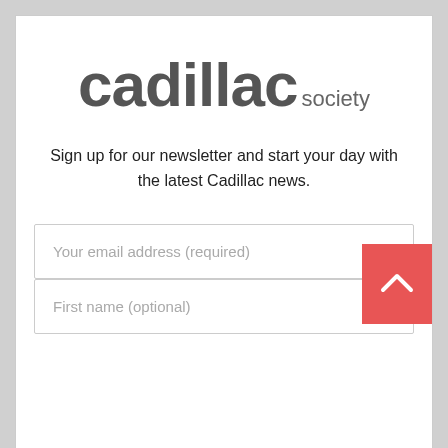[Figure (logo): Cadillac Society logo with large bold lowercase text 'cadillac' and smaller 'society' beside it]
Sign up for our newsletter and start your day with the latest Cadillac news.
Your email address (required)
First name (optional)